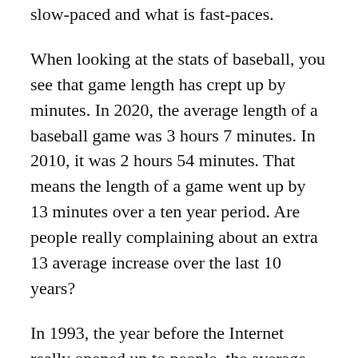slow-paced and what is fast-paces.
When looking at the stats of baseball, you see that game length has crept up by minutes. In 2020, the average length of a baseball game was 3 hours 7 minutes. In 2010, it was 2 hours 54 minutes. That means the length of a game went up by 13 minutes over a ten year period. Are people really complaining about an extra 13 average increase over the last 10 years?
In 1993, the year before the Internet really opened up to people, the average length of a baseball game was also 2:54. Ten years before that it was 2:40.
The length of a baseball game really hasn’t changed much, but how our attention has. This is why most